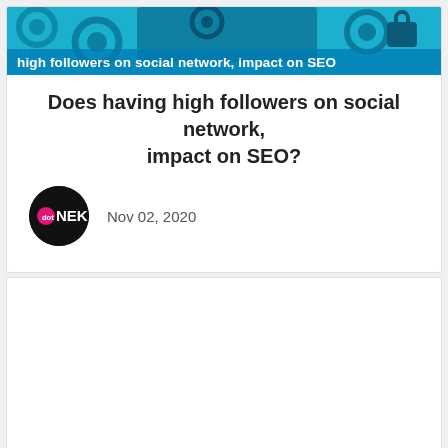[Figure (photo): Banner image with blue tech/gear background and overlay text reading 'high followers on social network, impact on SEO']
Does having high followers on social network, impact on SEO?
[Figure (logo): dotNEK logo — black circle with 'dot' in pink and 'NEK' in white text]
Nov 02, 2020